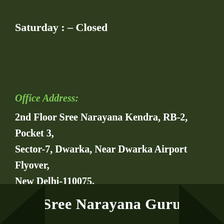Saturday : –  Closed
Office Address:
2nd Floor Sree Narayana Kendra, RB-2, Pocket 3, Sector-7, Dwarka, Near Dwarka Airport Flyover, New Delhi-110075.
Sree Narayana Guru